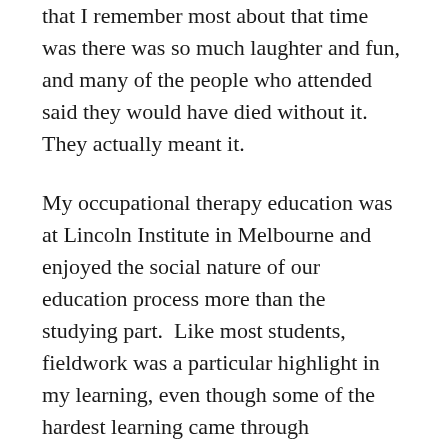that I remember most about that time was there was so much laughter and fun, and many of the people who attended said they would have died without it.  They actually meant it.
My occupational therapy education was at Lincoln Institute in Melbourne and enjoyed the social nature of our education process more than the studying part.  Like most students, fieldwork was a particular highlight in my learning, even though some of the hardest learning came through understanding and accepting my own mistakes.  I started in 1985 and finished in 1989, I had a year off in the middle as I went to Japan to teach English and ended up working at Tokyo Disneyland!  While living and